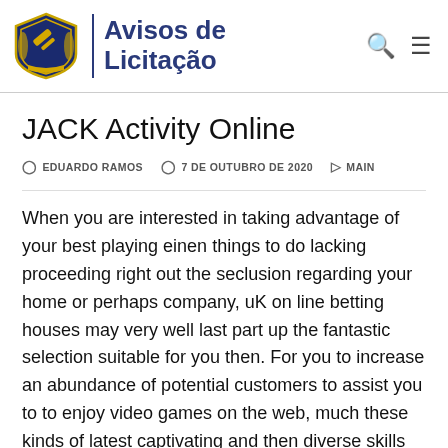[Figure (logo): Avisos de Licitação website logo with shield emblem and text]
JACK Activity Online
EDUARDO RAMOS   7 DE OUTUBRO DE 2020   MAIN
When you are interested in taking advantage of your best playing einen things to do lacking proceeding right out the seclusion regarding your home or perhaps company, uK on line betting houses may very well last part up the fantastic selection suitable for you then. For you to increase an abundance of potential customers to assist you to to enjoy video games on the web, much these kinds of latest captivating and then diverse skills that are able to